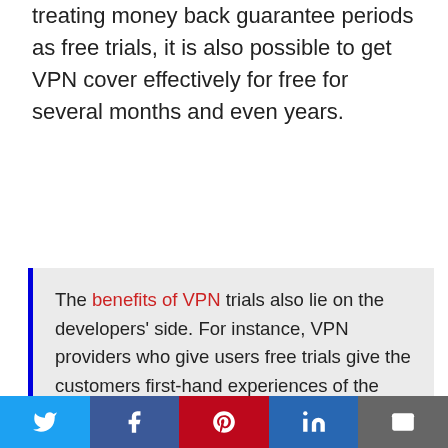treating money back guarantee periods as free trials, it is also possible to get VPN cover effectively for free for several months and even years.
The benefits of VPN trials also lie on the developers' side. For instance, VPN providers who give users free trials give the customers first-hand experiences of the platform's user interface, connectivity speeds, or encryption capabilities. For VPNs that provide a good service, this should be the perfect advertising tool.
Social share bar: Twitter, Facebook, Pinterest, LinkedIn, Email